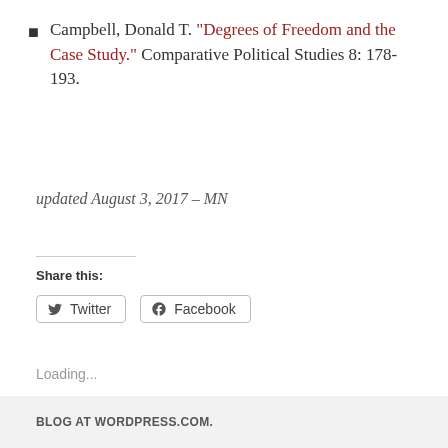Campbell, Donald T. “Degrees of Freedom and the Case Study.” Comparative Political Studies 8: 178-193.
updated August 3, 2017 – MN
Share this:
Twitter
Facebook
Loading...
BLOG AT WORDPRESS.COM.